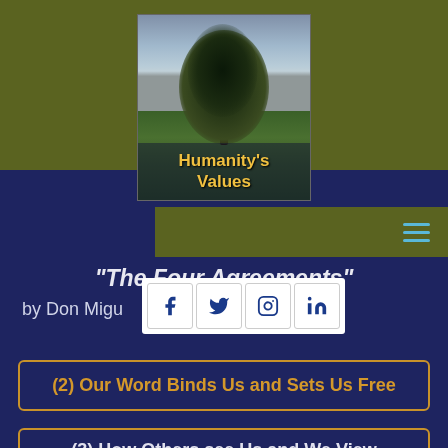[Figure (illustration): Book cover for Humanity's Values showing a large tree in a field with sky background, title text in gold]
Humanity's Values
“The Four Agreements”
by Don Miguel ...
(2) Our Word Binds Us and Sets Us Free
(3) How Others see Us and We View Ourselves